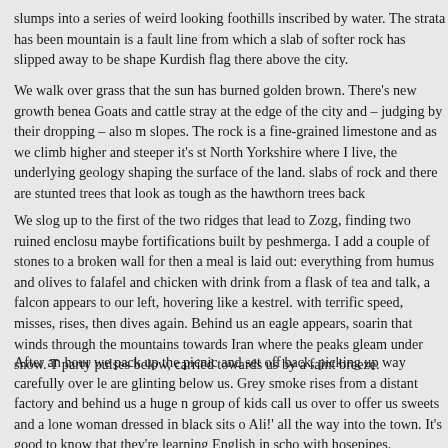slumps into a series of weird looking foothills inscribed by water. The strata has been mountain is a fault line from which a slab of softer rock has slipped away to be shape Kurdish flag there above the city.
We walk over grass that the sun has burned golden brown. There's new growth benea Goats and cattle stray at the edge of the city and – judging by their dropping – also m slopes. The rock is a fine-grained limestone and as we climb higher and steeper it's st North Yorkshire where I live, the underlying geology shaping the surface of the land. slabs of rock and there are stunted trees that look as tough as the hawthorn trees back
We slog up to the first of the two ridges that lead to Zozg, finding two ruined enclosu maybe fortifications built by peshmerga. I add a couple of stones to a broken wall for then a meal is laid out: everything from humus and olives to falafel and chicken with drink from a flask of tea and talk, a falcon appears to our left, hovering like a kestrel. with terrific speed, misses, rises, then dives again. Behind us an eagle appears, soarin that winds through the mountains towards Iran where the peaks gleam under snow. Th party pulses below, carried towards us by a faint breeze.
After an hour we pack up the picnic and set off back, picking up way carefully over le are glinting below us. Grey smoke rises from a distant factory and behind us a huge m group of kids call us over to offer us sweets and a lone woman dressed in black sits o Ali!' all the way into the town. It's good to know that they're learning English in scho with hosepipes.
It's been a great day, good to share the company of our friends and to escape the ti